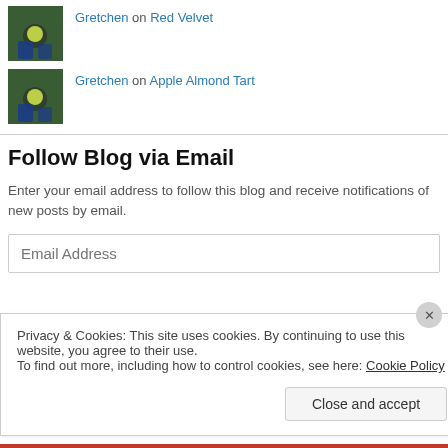Gretchen on Red Velvet
Gretchen on Apple Almond Tart
Follow Blog via Email
Enter your email address to follow this blog and receive notifications of new posts by email.
Email Address (input field)
Privacy & Cookies: This site uses cookies. By continuing to use this website, you agree to their use. To find out more, including how to control cookies, see here: Cookie Policy